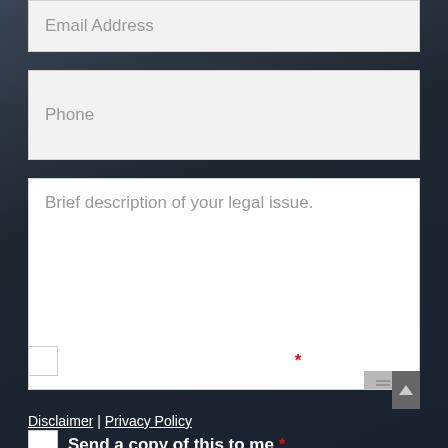Email Address
Phone
Brief description of your legal issue.
Disclaimer | Privacy Policy
I Have Read The Disclaimer *
Send a copy of this to me *